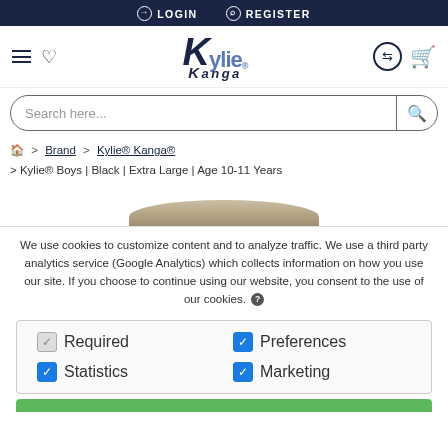LOGIN   REGISTER
[Figure (logo): Kylie Kanga brand logo with hamburger menu, heart icon, exchange icon and shopping bag]
Search here...
Home > Brand > Kylie® Kanga® > Kylie® Boys | Black | Extra Large | Age 10-11 Years
[Figure (photo): Partial product image - beige/tan curved top of product item]
We use cookies to customize content and to analyze traffic. We use a third party analytics service (Google Analytics) which collects information on how you use our site. If you choose to continue using our website, you consent to the use of our cookies. ?
Required   Preferences   Statistics   Marketing